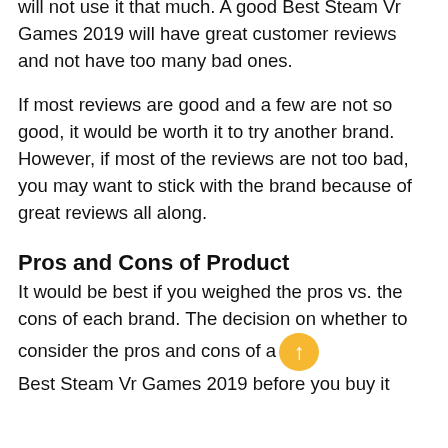will not use it that much. A good Best Steam Vr Games 2019 will have great customer reviews and not have too many bad ones.
If most reviews are good and a few are not so good, it would be worth it to try another brand. However, if most of the reviews are not too bad, you may want to stick with the brand because of great reviews all along.
Pros and Cons of Product
It would be best if you weighed the pros vs. the cons of each brand. The decision on whether to consider the pros and cons of a Best Steam Vr Games 2019 before you buy it